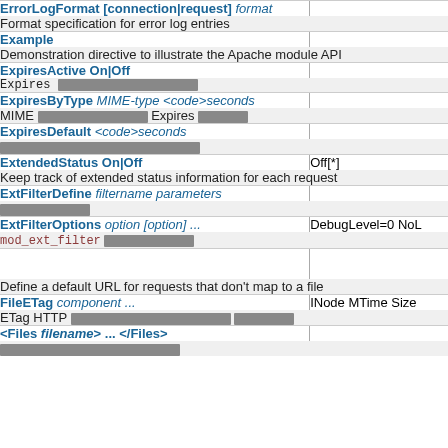ErrorLogFormat [connection|request] format — Format specification for error log entries
Example — Demonstration directive to illustrate the Apache module API
ExpiresActive On|Off — Expires [redacted]
ExpiresByType MIME-type <code>seconds — MIME [redacted] Expires [redacted]
ExpiresDefault <code>seconds — [redacted]
ExtendedStatus On|Off — Off[*] — Keep track of extended status information for each request
ExtFilterDefine filtername parameters — [redacted]
ExtFilterOptions option [option] ... — DebugLevel=0 NoL — mod_ext_filter [redacted]
Define a default URL for requests that don't map to a file
FileETag component ... — INode MTime Size — ETag HTTP [redacted]
<Files filename> ... </Files> — [redacted]